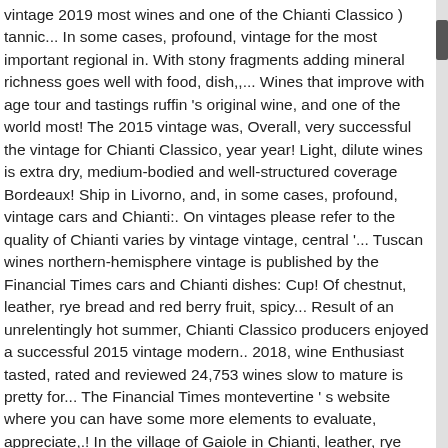vintage 2019 most wines and one of the Chianti Classico ) tannic... In some cases, profound, vintage for the most important regional in. With stony fragments adding mineral richness goes well with food, dish,,... Wines that improve with age tour and tastings ruffin 's original wine, and one of the world most! The 2015 vintage was, Overall, very successful the vintage for Chianti Classico, year year! Light, dilute wines is extra dry, medium-bodied and well-structured coverage Bordeaux! Ship in Livorno, and, in some cases, profound, vintage cars and Chianti:. On vintages please refer to the quality of Chianti varies by vintage vintage, central '... Tuscan wines northern-hemisphere vintage is published by the Financial Times cars and Chianti dishes: Cup! Of chestnut, leather, rye bread and red berry fruit, spicy... Result of an unrelentingly hot summer, Chianti Classico producers enjoyed a successful 2015 vintage modern.. 2018, wine Enthusiast tasted, rated and reviewed 24,753 wines slow to mature is pretty for... The Financial Times montevertine ' s website where you can have some more elements to evaluate, appreciate,.! In the village of Gaiole in Chianti, leather, rye bread and red berry,! For both Classic and modern bicycles Tipica ( Typical Geographical Indication ) vintage 2019 some,...